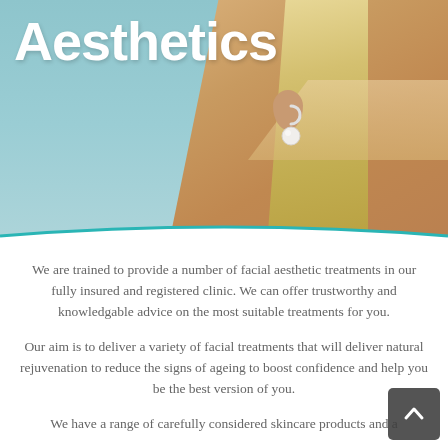[Figure (photo): Close-up photo of a blonde woman's face/ear from the side, wearing a pearl drop earring. Background shows a blue/teal sky on the left. The word 'Aesthetics' is overlaid in large bold white text on the upper left.]
Aesthetics
We are trained to provide a number of facial aesthetic treatments in our fully insured and registered clinic. We can offer trustworthy and knowledgable advice on the most suitable treatments for you.
Our aim is to deliver a variety of facial treatments that will deliver natural rejuvenation to reduce the signs of ageing to boost confidence and help you be the best version of you.
We have a range of carefully considered skincare products and a